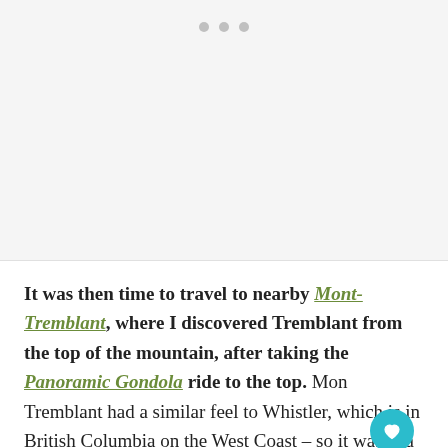[Figure (other): Light gray image placeholder area with three gray dots at the top center indicating a carousel or image slider]
It was then time to travel to nearby Mont-Tremblant, where I discovered Tremblant from the top of the mountain, after taking the Panoramic Gondola ride to the top. Mont-Tremblant had a similar feel to Whistler, which is in British Columbia on the West Coast – so it wasn't a surprise when I was